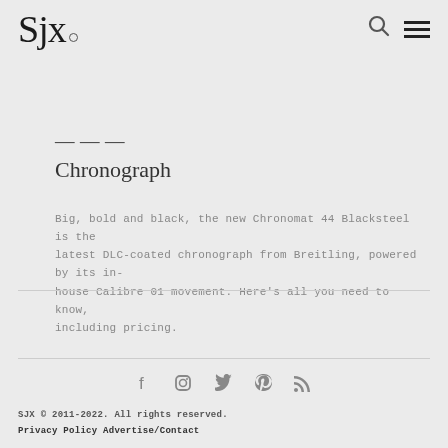SJX logo, search icon, menu icon
Chronograph
Big, bold and black, the new Chronomat 44 Blacksteel is the latest DLC-coated chronograph from Breitling, powered by its in-house Calibre 01 movement. Here's all you need to know, including pricing.
[Figure (other): Social media icons: Facebook, Instagram, Twitter, Pinterest, RSS]
SJX © 2011-2022. All rights reserved. Privacy Policy Advertise/Contact